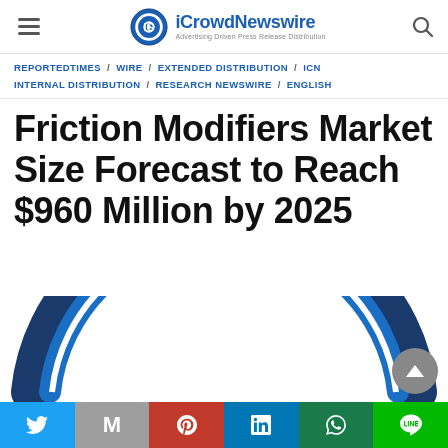iCrowdNewswire – Advertising Driven Press Release Distribution
REPORTEDTIMES / WIRE / EXTENDED DISTRIBUTION / ICN INTERNAL DISTRIBUTION / RESEARCH NEWSWIRE / ENGLISH
Friction Modifiers Market Size Forecast to Reach $960 Million by 2025
[Figure (other): Partial view of a circular/donut chart graphic showing blue arcs, partially cropped at the bottom of the page]
[Figure (other): Social share buttons bar: Twitter, Gmail, Pinterest, LinkedIn, WhatsApp, Line]